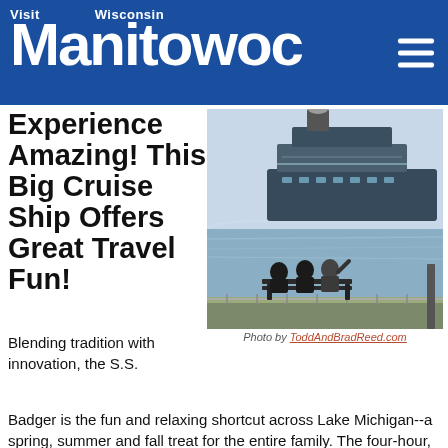Visit Wisconsin Manitowoc
Experience Amazing! This Big Cruise Ship Offers Great Travel Fun!
[Figure (photo): Three people sitting on a bench watching a large cruise ship (S.S. Badger) on Lake Michigan]
Photo by ToddAndBradReed.com
Blending tradition with innovation, the S.S. Badger is the fun and relaxing shortcut across Lake Michigan--a spring, summer and fall treat for the entire family. The four-hour, 60-mile cruise between Manitowoc, Wisconsin and Ludington, Michigan has all the comforts of home and more. The 410' S.S. Badger carries up to 620